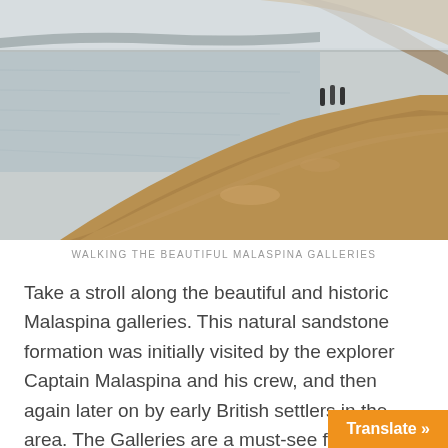[Figure (photo): People walking along the Malaspina Galleries, a natural sandstone formation along the waterfront. The sandstone cliffs and ledge are visible with calm water and distant shoreline in the background.]
WALKING THE BEAUTIFUL MALASPINA GALLERIES
Take a stroll along the beautiful and historic Malaspina galleries. This natural sandstone formation was initially visited by the explorer Captain Malaspina and his crew, and then again later on by early British settlers in the area. The Galleries are a must-see for first time or repeat visitors, as the calm waters of the bay overlook Newcastle Island and do